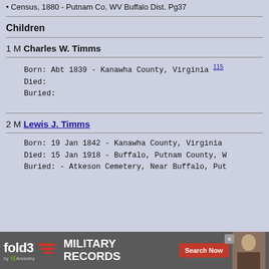Census, 1880 - Putnam Co, WV Buffalo Dist. Pg37
Children
1 M Charles W. Timms
Born: Abt 1839 - Kanawha County, Virginia 115
Died:
Buried:
2 M Lewis J. Timms
Born: 19 Jan 1842 - Kanawha County, Virginia
Died: 15 Jan 1918 - Buffalo, Putnam County, W
Buried:  - Atkeson Cemetery, Near Buffalo, Put